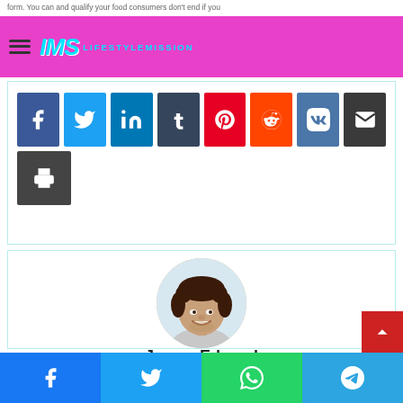LIFESTYLEMISSION
[Figure (screenshot): Social share buttons: Facebook (blue), Twitter (light blue), LinkedIn (dark blue), Tumblr (dark slate), Pinterest (red), Reddit (orange-red), VK (steel blue), Email (dark gray), Print (dark gray)]
[Figure (photo): Circular profile photo of James Edward - smiling young man with curly dark hair]
James Edward
[Figure (illustration): Home icon]
Facebook | Twitter | WhatsApp | Telegram share buttons